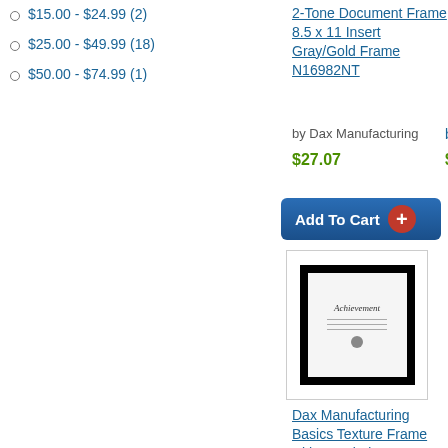$15.00 - $24.99 (2)
$25.00 - $49.99 (18)
$50.00 - $74.99 (1)
2-Tone Document Frame 8.5 x 11 Insert Gray/Gold Frame N16982NT
by Dax Manufacturing
$27.07
[Figure (screenshot): Add To Cart button with red plus circle]
[Figure (photo): Dax Manufacturing Basics Texture Frame with Beveled Mat 11 x 14 Black product image]
Dax Manufacturing Basics Texture Frame with Beveled Mat 11 x 14 Black NDWT1114BT
by Dax Manufacturing
$33.95
[Figure (screenshot): Add To Cart button with red plus circle]